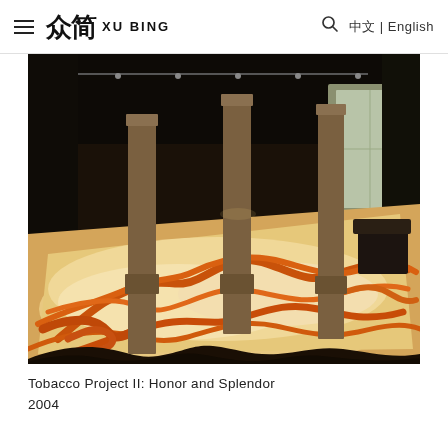≡ 众简 XU BING  🔍  中文 | English
[Figure (photo): Interior gallery view showing a large-scale floor installation of dried tobacco leaves arranged in flowing orange and cream wave patterns resembling a dragon or topographic map, surrounded by dark walls and supported by square stone columns. The tobacco creates a vast field filling the floor of an industrial-style gallery space with large windows on the right side.]
Tobacco Project II: Honor and Splendor
2004